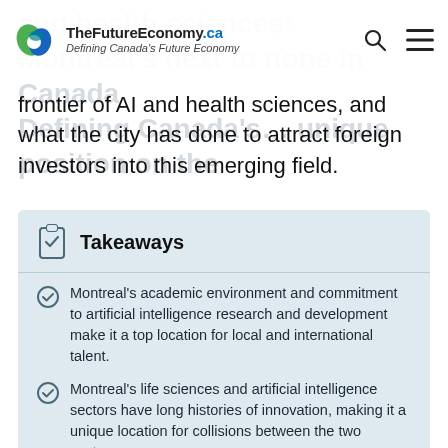TheFutureEconomy.ca — Defining Canada's Future Economy
frontier of AI and health sciences, and what the city has done to attract foreign investors into this emerging field.
Takeaways
Montreal's academic environment and commitment to artificial intelligence research and development make it a top location for local and international talent.
Montreal's life sciences and artificial intelligence sectors have long histories of innovation, making it a unique location for collisions between the two sectors.